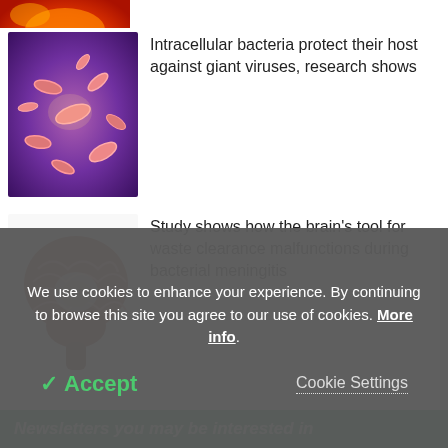[Figure (photo): Cropped top portion of a reddish/orange microscopy or illustration image, partially visible at the top of the page]
[Figure (photo): Microscopy illustration of intracellular bacteria — pink rod-shaped bacteria on a purple/pink blurred background]
Intracellular bacteria protect their host against giant viruses, research shows
[Figure (illustration): 3D anatomical illustration of a human brain cross-section showing internal structures, pinkish-brown on white background]
Study shows how the brain's tool for waste clearance malfunctions during bacterial meningitis
Newsletters you may be interested in
We use cookies to enhance your experience. By continuing to browse this site you agree to our use of cookies. More info.
✓ Accept
Cookie Settings